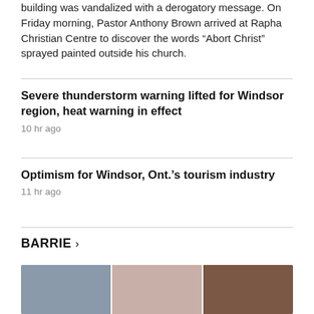building was vandalized with a derogatory message. On Friday morning, Pastor Anthony Brown arrived at Rapha Christian Centre to discover the words “Abort Christ” sprayed painted outside his church.
Severe thunderstorm warning lifted for Windsor region, heat warning in effect
10 hr ago
Optimism for Windsor, Ont.’s tourism industry
11 hr ago
BARRIE ›
[Figure (photo): Three photo thumbnails side by side showing people, partially visible at the bottom of the page]